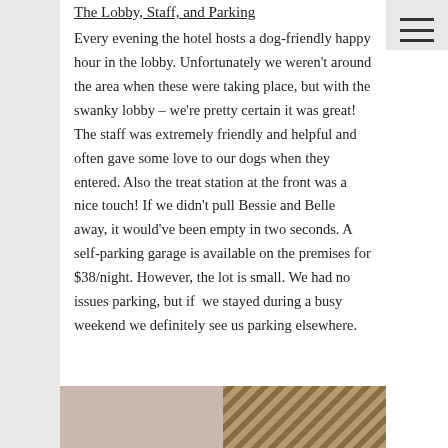The Lobby, Staff, and Parking
Every evening the hotel hosts a dog-friendly happy hour in the lobby. Unfortunately we weren't around the area when these were taking place, but with the swanky lobby – we're pretty certain it was great! The staff was extremely friendly and helpful and often gave some love to our dogs when they entered. Also the treat station at the front was a nice touch! If we didn't pull Bessie and Belle away, it would've been empty in two seconds. A self-parking garage is available on the premises for $38/night. However, the lot is small. We had no issues parking, but if we stayed during a busy weekend we definitely see us parking elsewhere.
[Figure (photo): Two photos side by side: left photo shows a beige/cream ceiling with a light fixture, right photo shows diagonal wooden slat pattern]